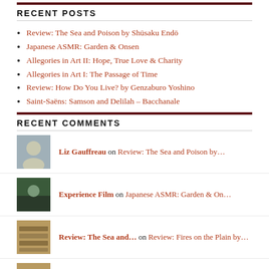RECENT POSTS
Review: The Sea and Poison by Shūsaku Endō
Japanese ASMR: Garden & Onsen
Allegories in Art II: Hope, True Love & Charity
Allegories in Art I: The Passage of Time
Review: How Do You Live? by Genzaburo Yoshino
Saint-Saëns: Samson and Delilah – Bacchanale
RECENT COMMENTS
Liz Gauffreau on Review: The Sea and Poison by…
Experience Film on Japanese ASMR: Garden & On…
Review: The Sea and… on Review: Fires on the Plain by…
Review: The Sea and… on Review: The Woman in the Dunes…